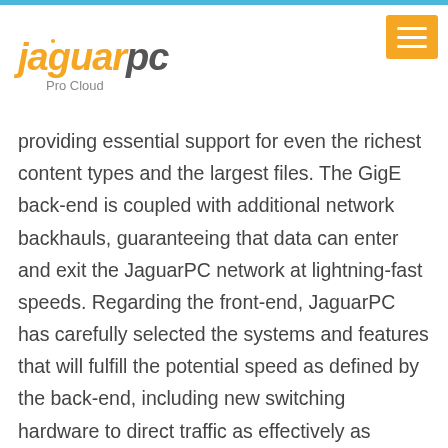JaguarPC Pro Cloud
providing essential support for even the richest content types and the largest files. The GigE back-end is coupled with additional network backhauls, guaranteeing that data can enter and exit the JaguarPC network at lightning-fast speeds. Regarding the front-end, JaguarPC has carefully selected the systems and features that will fulfill the potential speed as defined by the back-end, including new switching hardware to direct traffic as effectively as possible. For virtual private server hosting (VPS web hosting) customers, JaguarPC has also been able to launch KVM over IP systems.